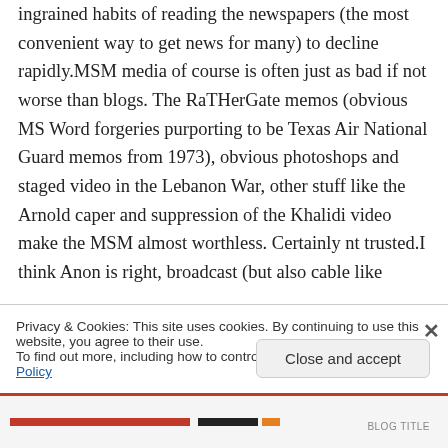ingrained habits of reading the newspapers (the most convenient way to get news for many) to decline rapidly.MSM media of course is often just as bad if not worse than blogs. The RaTHerGate memos (obvious MS Word forgeries purporting to be Texas Air National Guard memos from 1973), obvious photoshops and staged video in the Lebanon War, other stuff like the Arnold caper and suppression of the Khalidi video make the MSM almost worthless. Certainly nt trusted.I think Anon is right, broadcast (but also cable like
Privacy & Cookies: This site uses cookies. By continuing to use this website, you agree to their use.
To find out more, including how to control cookies, see here: Cookie Policy
Close and accept